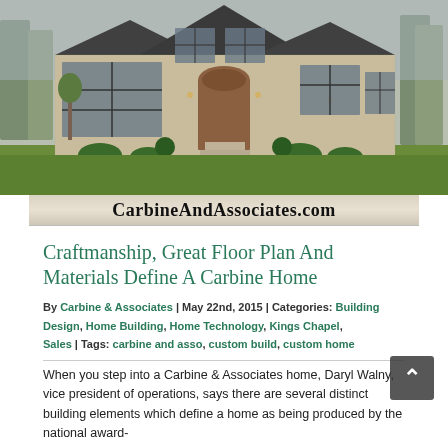[Figure (photo): Exterior photo of a large two-story stone and Tudor-style custom home with large windows, arched entryway, and landscaped front yard with trees and shrubs.]
CarbineAndAssociates.com
Craftmanship, Great Floor Plan And Materials Define A Carbine Home
By Carbine & Associates | May 22nd, 2015 | Categories: Building Design, Home Building, Home Technology, Kings Chapel, Sales | Tags: carbine and asso, custom build, custom home
When you step into a Carbine & Associates home, Daryl Walny, vice president of operations, says there are several distinct building elements which define a home as being produced by the national award-